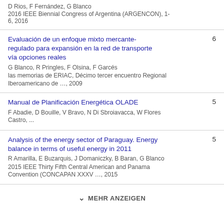D Rios, F Fernández, G Blanco
2016 IEEE Biennial Congress of Argentina (ARGENCON), 1-6, 2016
Evaluación de un enfoque mixto mercante-regulado para expansión en la red de transporte vía opciones reales
G Blanco, R Pringles, F Olsina, F Garcés
las memorias de ERIAC, Décimo tercer encuentro Regional Iberoamericano de …, 2009
Manual de Planificación Energética OLADE
F Abadie, D Bouille, V Bravo, N Di Sbroiavacca, W Flores Castro, ...
Analysis of the energy sector of Paraguay. Energy balance in terms of useful energy in 2011
R Amarilla, E Buzarquis, J Domaniczky, B Baran, G Blanco
2015 IEEE Thirty Fifth Central American and Panama Convention (CONCAPAN XXXV …, 2015
MEHR ANZEIGEN